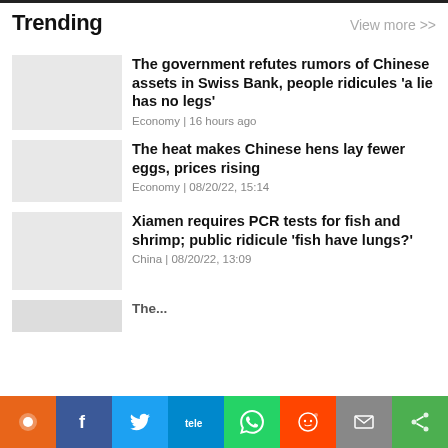Trending
View more >>
The government refutes rumors of Chinese assets in Swiss Bank, people ridicules 'a lie has no legs'
Economy | 16 hours ago
The heat makes Chinese hens lay fewer eggs, prices rising
Economy | 08/20/22, 15:14
Xiamen requires PCR tests for fish and shrimp; public ridicule 'fish have lungs?'
China | 08/20/22, 13:09
The...